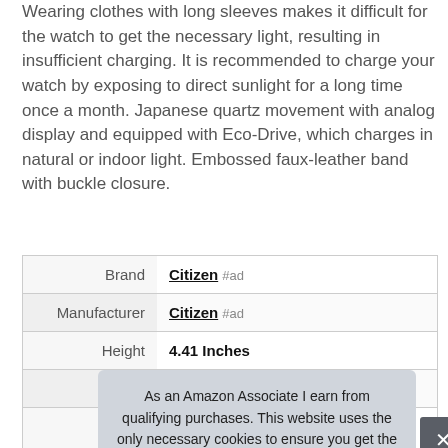Wearing clothes with long sleeves makes it difficult for the watch to get the necessary light, resulting in insufficient charging. It is recommended to charge your watch by exposing to direct sunlight for a long time once a month. Japanese quartz movement with analog display and equipped with Eco-Drive, which charges in natural or indoor light. Embossed faux-leather band with buckle closure.
|  |  |
| --- | --- |
| Brand | Citizen #ad |
| Manufacturer | Citizen #ad |
| Height | 4.41 Inches |
| Length | 3.62 Inches |
| P |  |
As an Amazon Associate I earn from qualifying purchases. This website uses the only necessary cookies to ensure you get the best experience on our website. More information